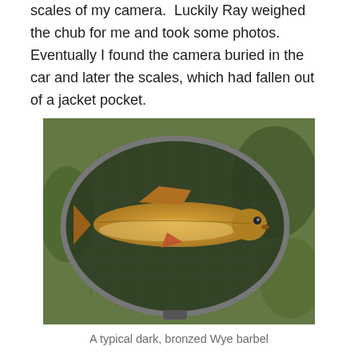scales of my camera.  Luckily Ray weighed the chub for me and took some photos.  Eventually I found the camera buried in the car and later the scales, which had fallen out of a jacket pocket.
[Figure (photo): A fish (barbel) lying in a round landing net on grass. The fish is bronzed/golden coloured with scales visible. The net is dark green mesh.]
A typical dark, bronzed Wye barbel
Just after lunchtime I had a 3 foot twitch which resulted in a very powerful barbel being hooked.  It took some time to